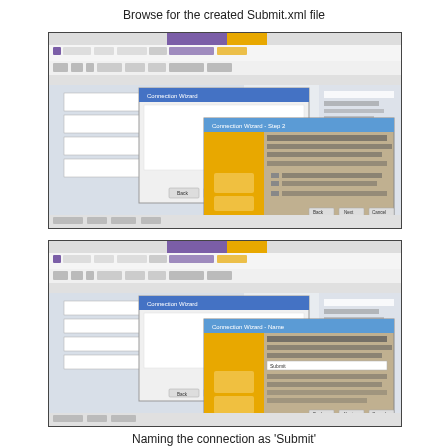Browse for the created Submit.xml file
[Figure (screenshot): Screenshot of a software application (likely Microsoft InfoPath or similar) showing a dialog box for browsing to a Submit.xml file, with a yellow-panel wizard dialog overlaid on the main application window.]
[Figure (screenshot): Screenshot of the same software application showing a subsequent step of the wizard dialog, with a field for naming the connection as 'Submit', yellow panel visible on the left of the dialog.]
Naming the connection as 'Submit'